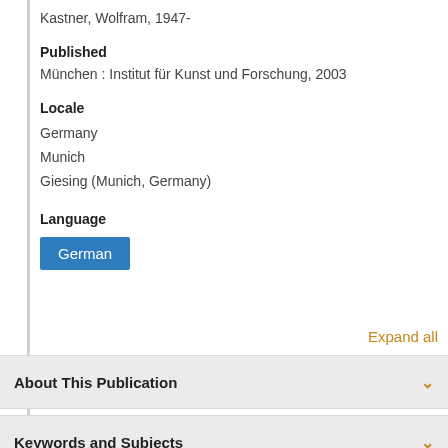Kastner, Wolfram, 1947-
Published
München : Institut für Kunst und Forschung, 2003
Locale
Germany
Munich
Giesing (Munich, Germany)
Language
German
Expand all
About This Publication
Keywords and Subjects